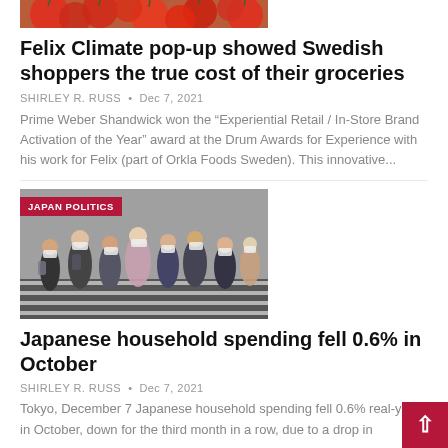[Figure (photo): Partial photo of red tomatoes at the top of the page]
Felix Climate pop-up showed Swedish shoppers the true cost of their groceries
SHIRLEY R. RUSS • Dec 7, 2021
Prime Weber Shandwick won the “Experiential Retail / In-Store Brand Activation of the Year” award at the Drum Awards for Experience with his work for Felix (part of Orkla Foods Sweden). This innovative...
[Figure (photo): Photo of a crowd of people crossing a street in Japan, wearing masks. Tagged 'JAPAN POLITICS'.]
Japanese household spending fell 0.6% in October
SHIRLEY R. RUSS • Dec 7, 2021
Tokyo, December 7 Japanese household spending fell 0.6% real-year in October, down for the third month in a row, due to a drop in